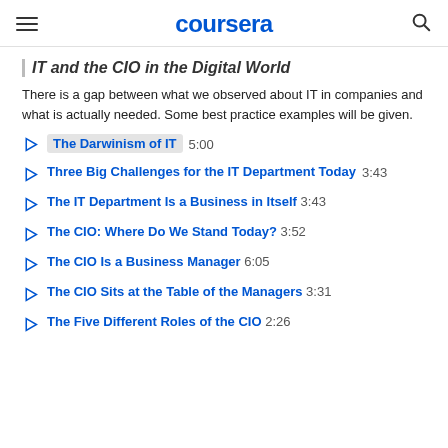coursera
IT and the CIO in the Digital World
There is a gap between what we observed about IT in companies and what is actually needed. Some best practice examples will be given.
The Darwinism of IT  5:00
Three Big Challenges for the IT Department Today  3:43
The IT Department Is a Business in Itself  3:43
The CIO: Where Do We Stand Today?  3:52
The CIO Is a Business Manager  6:05
The CIO Sits at the Table of the Managers  3:31
The Five Different Roles of the CIO  2:26